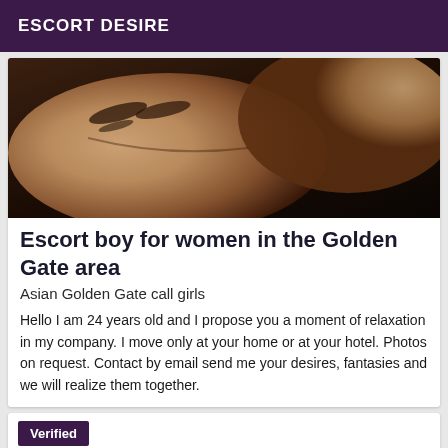ESCORT DESIRE
[Figure (photo): Close-up photo of a person's face, partially visible, warm skin tones, dark background]
Escort boy for women in the Golden Gate area
Asian Golden Gate call girls
Hello I am 24 years old and I propose you a moment of relaxation in my company. I move only at your home or at your hotel. Photos on request. Contact by email send me your desires, fantasies and we will realize them together.
Verified